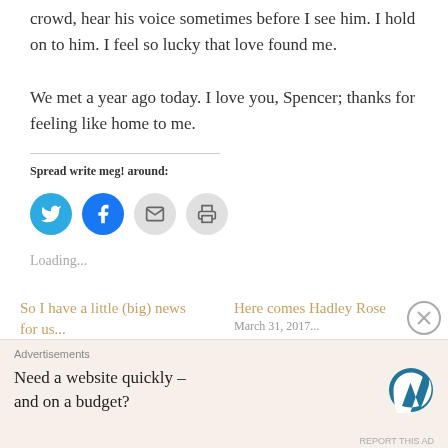crowd, hear his voice sometimes before I see him. I hold on to him. I feel so lucky that love found me.
We met a year ago today. I love you, Spencer; thanks for feeling like home to me.
Spread write meg! around:
[Figure (infographic): Four social sharing icon buttons: Twitter (blue circle with bird), Facebook (blue circle with f), Email (gray circle with envelope), Print (gray circle with printer)]
Loading...
So I have a little (big) news for us...
Here comes Hadley Rose
Advertisements
Need a website quickly – and on a budget?